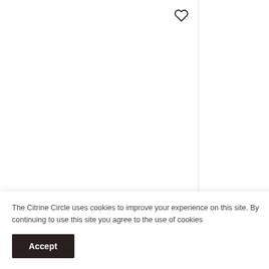[Figure (photo): Large Aromatherapy Essential Oil Box product image area (white/blank)]
Large Aromatherapy Essential Oil Box
£19.99
[Figure (photo): Small Aromatherapy Box product image area (white/blank, partially visible)]
Small Aromatherapy Box
£12.50
The Citrine Circle uses cookies to improve your experience on this site. By continuing to use this site you agree to the use of cookies
Accept